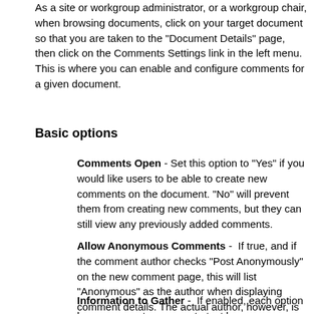As a site or workgroup administrator, or a workgroup chair, when browsing documents, click on your target document so that you are taken to the "Document Details" page, then click on the Comments Settings link in the left menu. This is where you can enable and configure comments for a given document.
Basic options
Comments Open - Set this option to "Yes" if you would like users to be able to create new comments on the document. "No" will prevent them from creating new comments, but they can still view any previously added comments.
Allow Anonymous Comments -  If true, and if the comment author checks "Post Anonymously" on the new comment page, this will list "Anonymous" as the author when displaying comment details. The actual author, however, is still stored in the Causeway database.
Information to Gather -  If enabled, each option here represents a separate text box